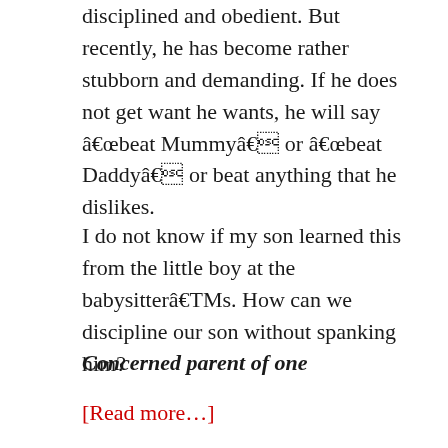disciplined and obedient. But recently, he has become rather stubborn and demanding. If he does not get want he wants, he will say â€œbeat Mummyâ€ or â€œbeat Daddyâ€ or beat anything that he dislikes.
I do not know if my son learned this from the little boy at the babysitterâ€TMs. How can we discipline our son without spanking him?
Concerned parent of one
[Read more…]